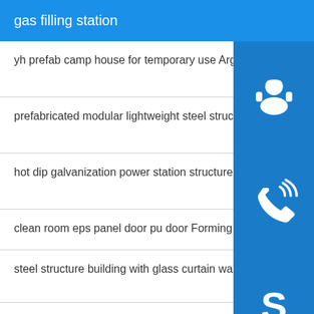gas filling station
yh prefab camp house for temporary use Argon welding
prefabricated modular lightweight steel structure building Hole drilling
hot dip galvanization power station structure Argon arc welding
clean room eps panel door pu door Forming
steel structure building with glass curtain wall polishing
iso ce certificated large span light steel struc Hole